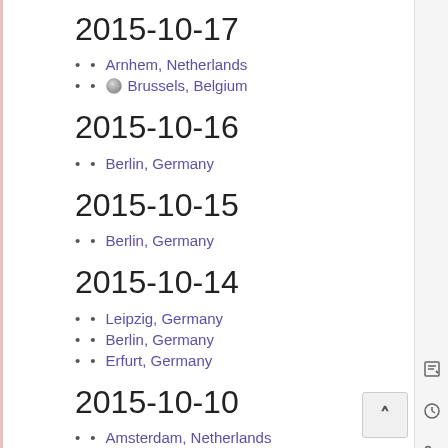2015-10-17
Arnhem, Netherlands
🌐 Brussels, Belgium
2015-10-16
Berlin, Germany
2015-10-15
Berlin, Germany
2015-10-14
Leipzig, Germany
Berlin, Germany
Erfurt, Germany
2015-10-10
Amsterdam, Netherlands
Ann Arbor, MI, USA